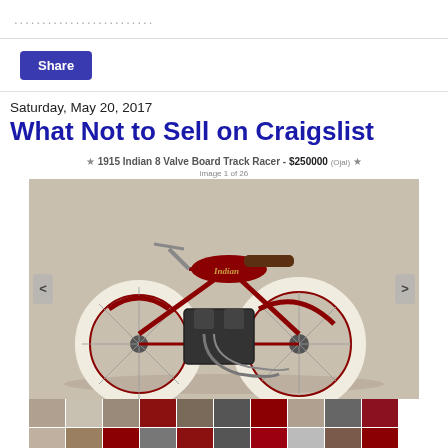...........................
Share
Saturday, May 20, 2017
What Not to Sell on Craigslist
[Figure (screenshot): Screenshot of a Craigslist listing for a 1915 Indian 8 Valve Board Track Racer priced at $250000, showing a red vintage motorcycle with white tires, navigation arrows, and a row of thumbnail images below the main photo.]
1915 Indian 8 Valve Board Track Racer
This is the Steven Wright Original Indian 8 Valve Board Track Racer! NOT A REPLICA!!